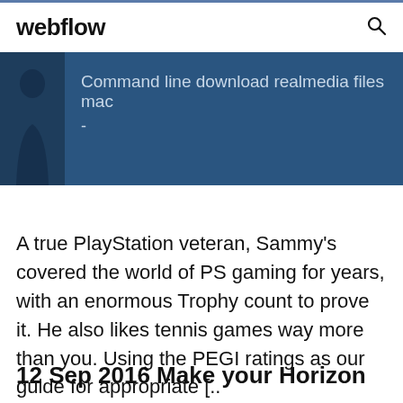webflow
[Figure (screenshot): Dark blue banner with a silhouette figure on the left and text 'Command line download realmedia files mac' and a dash below it]
A true PlayStation veteran, Sammy's covered the world of PS gaming for years, with an enormous Trophy count to prove it. He also likes tennis games way more than you. Using the PEGI ratings as our guide for appropriate [..
12 Sep 2016 Make your Horizon